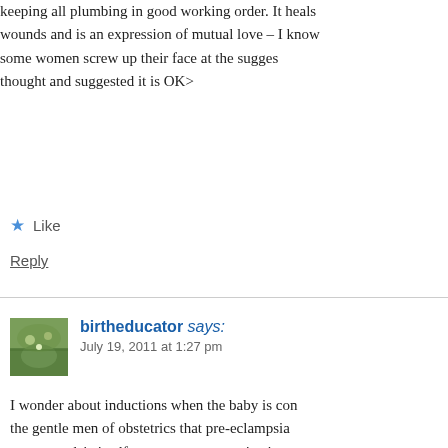keeping all plumbing in good working order. It heals wounds and is an expression of mutual love – I know some women screw up their face at the suggestion. thought and suggested it is OK>
★ Like
Reply
birtheducator says:
July 19, 2011 at 1:27 pm
I wonder about inductions when the baby is com the gentle men of obstetrics that pre-eclampsia pre-ecamplsia itself was a precursor or instigat baby decided to get out early often presenting w often unrecognised by unskilled or inexperienc
It was more important to recognise pre-eclamp